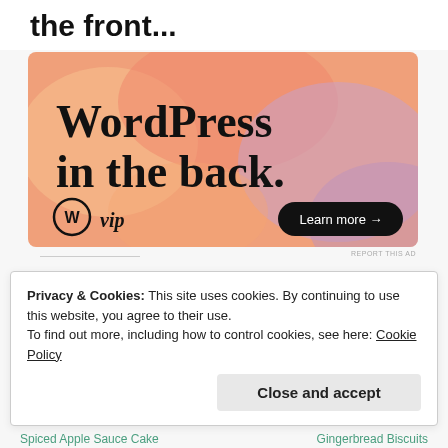the front...
[Figure (illustration): WordPress VIP advertisement banner with orange/pink gradient background. Large text reads 'WordPress in the back.' with WP VIP logo and 'Learn more →' button.]
REPORT THIS AD
Share this:
Email
Twitter
Like
Privacy & Cookies: This site uses cookies. By continuing to use this website, you agree to their use.
To find out more, including how to control cookies, see here: Cookie Policy
Close and accept
Spiced Apple Sauce Cake
Gingerbread Biscuits